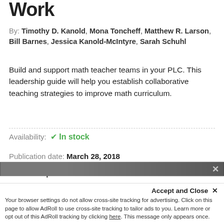Work
By: Timothy D. Kanold, Mona Toncheff, Matthew R. Larson, Bill Barnes, Jessica Kanold-McIntyre, Sarah Schuhl
Build and support math teacher teams in your PLC. This leadership guide will help you establish collaborative teaching strategies to improve math curriculum.
Availability: ✓ In stock
Publication date: March 28, 2018
Format: Paperback
$35.95
Qty: 1  Add to Cart
Accept and Close ✕
Your browser settings do not allow cross-site tracking for advertising. Click on this page to allow AdRoll to use cross-site tracking to tailor ads to you. Learn more or opt out of this AdRoll tracking by clicking here. This message only appears once.